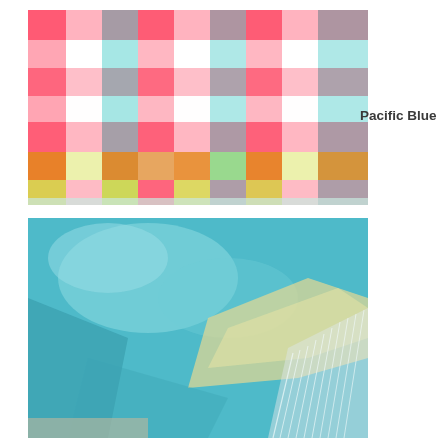[Figure (photo): Close-up photo of a colorful plaid/checkered fabric or blanket with a grid pattern in pink/red, teal/blue, yellow-green, orange, and white colors with fringe at the bottom edge.]
Pacific Blue
[Figure (photo): Close-up photo of a soft, fuzzy teal/blue blanket or throw with light yellow/cream accents and white fringe along the edge, shown draped and folded.]